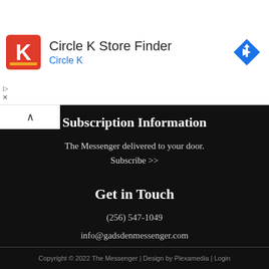[Figure (other): Circle K Store Finder advertisement banner with Circle K logo (red square with white K), title 'Circle K Store Finder', subtitle 'Circle K' in blue, and blue diamond navigation arrow icon on the right.]
Subscription Information
The Messenger delivered to your door.
Subscribe >>
Get in Touch
(256) 547-1049
info@gadsdenmessenger.com
Online Contact Form
Copyright © 2022 The Messenger | Design by Plexamedia | Login